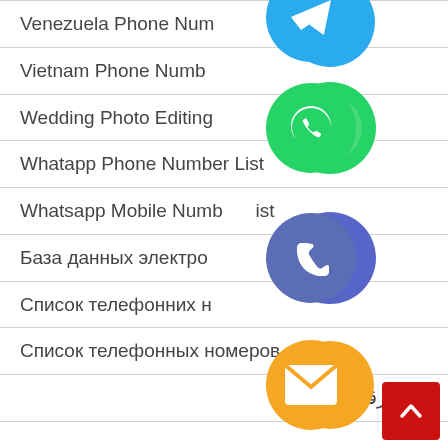Venezuela Phone Number
Vietnam Phone Number
Wedding Photo Editing
Whatapp Phone Number List
Whatsapp Mobile Number List
База данных электронной почты
Список телефонних н
Список телефонных номеров
قائمة رقم الهاتف
[Figure (infographic): Overlapping social/contact app icons: blue circle (Telegram), green circle (WhatsApp), blue-purple circle (phone), orange circle (email), green circle (LINE), purple circle (Viber), green circle with X (close button)]